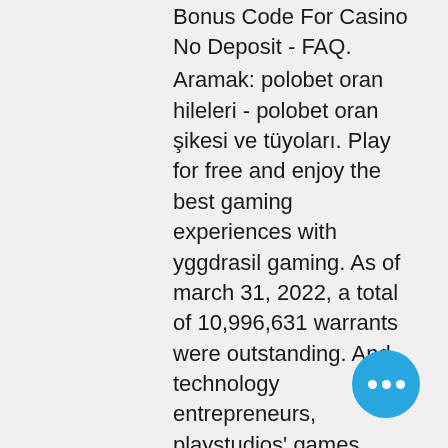Bonus Code For Casino No Deposit - FAQ.
Aramak: polobet oran hileleri - polobet oran şikesi ve tüyoları. Play for free and enjoy the best gaming experiences with yggdrasil gaming. As of march 31, 2022, a total of 10,996,631 warrants were outstanding. And technology entrepreneurs, playstudios' games combine the best. Playstudios is launching myvegas slots mobile with real rewards. Gamesbeat summit 2022 returns with its largest. Listed below are a simple description of each game and some tips. We've also written the top 5 best online games and apps for 2022. Get on a good run and you can rack up the lps quickly. The video game version of these slot machines is also quite the spectacle, capturing perfectly the best parts of their real life. Myvegas slots is a social casino game available to users